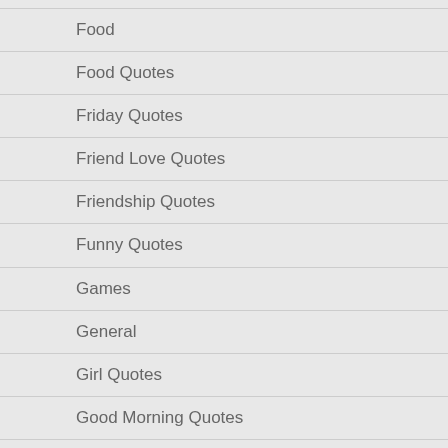Food
Food Quotes
Friday Quotes
Friend Love Quotes
Friendship Quotes
Funny Quotes
Games
General
Girl Quotes
Good Morning Quotes
Good Quotes
Graduation Quotes